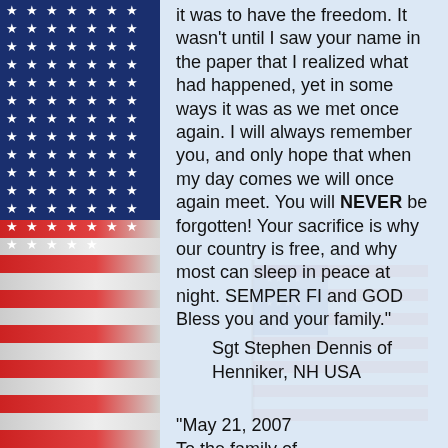[Figure (illustration): American flag patriotic border on the left side with blue canton containing white stars and alternating red and white stripes]
[Figure (illustration): Faded watermark American flag in the background on the right side]
it was to have the freedom. It wasn't until I saw your name in the paper that I realized what had happened, yet in some ways it was as we met once again. I will always remember you, and only hope that when my day comes we will once again meet. You will NEVER be forgotten! Your sacrifice is why our country is free, and why most can sleep in peace at night. SEMPER FI and GOD Bless you and your family."
Sgt Stephen Dennis of Henniker, NH USA
"May 21, 2007 To the family of William J. Tracy. William was the